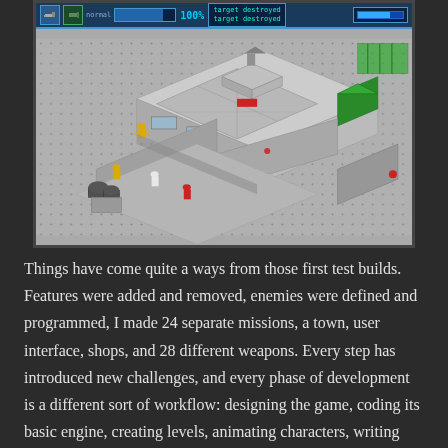[Figure (screenshot): Isometric tactical/strategy video game screenshot showing a tile-based environment with a building structure, small characters (yellow and red), barrels, and green containers. A HUD bar at the top shows weapon icons, a health/ammo bar at 100%, and 'target destroyed' status messages.]
Things have come quite a ways from those first test builds. Features were added and removed, enemies were defined and programmed, I made 24 separate missions, a town, user interface, shops, and 28 different weapons. Every step has introduced new challenges, and every phase of development is a different sort of workflow: designing the game, coding its basic engine, creating levels, animating characters, writing flavor text, playtesting and bugfixing.